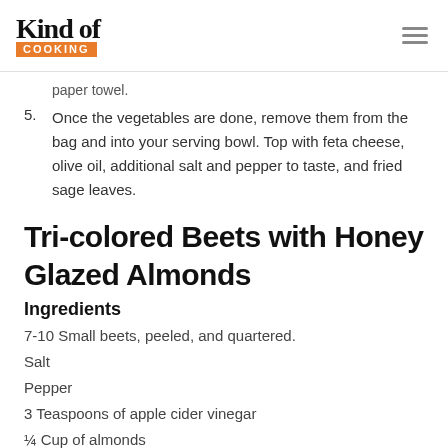Kind of Cooking
paper towel.
5. Once the vegetables are done, remove them from the bag and into your serving bowl. Top with feta cheese, olive oil, additional salt and pepper to taste, and fried sage leaves.
Tri-colored Beets with Honey Glazed Almonds
Ingredients
7-10 Small beets, peeled, and quartered.
Salt
Pepper
3 Teaspoons of apple cider vinegar
¼ Cup of almonds